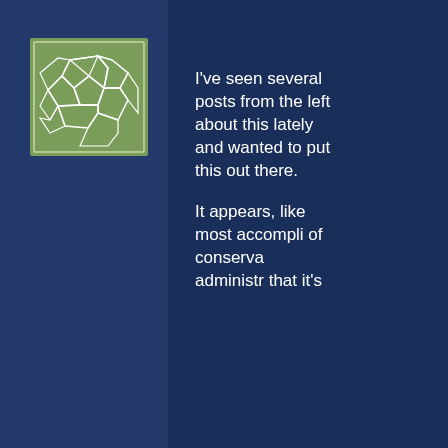[Figure (illustration): A green avatar icon showing a soccer ball pattern with white outlines on a sage green background, within a light border.]
I've seen several posts from the left about this lately and wanted to put this out there.
It appears, like most accompli of conserva administr that it's